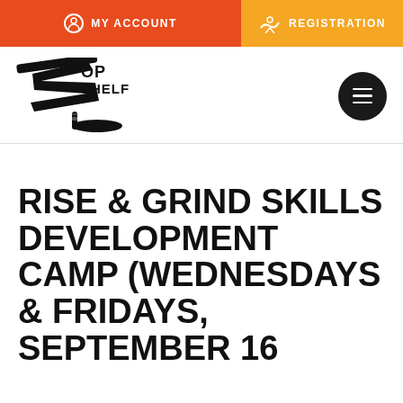MY ACCOUNT    REGISTRATION
[Figure (logo): Top Shelf hockey logo with stylized TS letters and hockey stick/puck graphic]
RISE & GRIND SKILLS DEVELOPMENT CAMP (WEDNESDAYS & FRIDAYS, SEPTEMBER 16